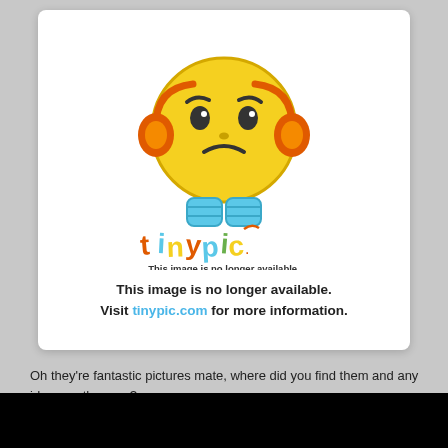[Figure (illustration): Tinypic placeholder image showing a sad/frowning emoticon face (yellow circle with furrowed brows and frown, orange headphones, blue body/feet) above the tinypic logo in colorful bubble letters. Text below reads: 'This image is no longer available. Visit tinypic.com for more information.']
Oh they're fantastic pictures mate, where did you find them and any ideas on the year?